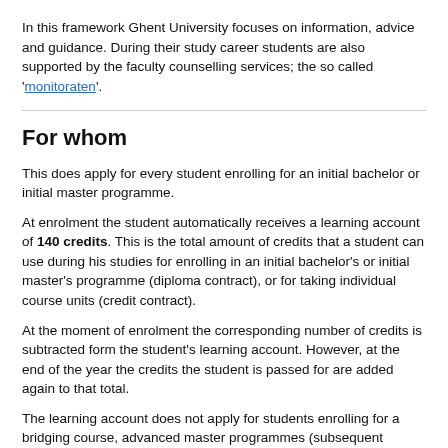In this framework Ghent University focuses on information, advice and guidance. During their study career students are also supported by the faculty counselling services; the so called 'monitoraten'.
For whom
This does apply for every student enrolling for an initial bachelor or initial master programme.
At enrolment the student automatically receives a learning account of 140 credits. This is the total amount of credits that a student can use during his studies for enrolling in an initial bachelor's or initial master's programme (diploma contract), or for taking individual course units (credit contract).
At the moment of enrolment the corresponding number of credits is subtracted form the student's learning account. However, at the end of the year the credits the student is passed for are added again to that total.
The learning account does not apply for students enrolling for a bridging course, advanced master programmes (subsequent master programmes)...